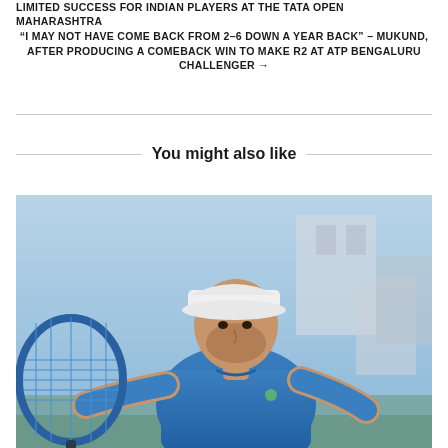LIMITED SUCCESS FOR INDIAN PLAYERS AT THE TATA OPEN MAHARASHTRA
“I MAY NOT HAVE COME BACK FROM 2–6 DOWN A YEAR BACK” – MUKUND, AFTER PRODUCING A COMEBACK WIN TO MAKE R2 AT ATP BENGALURU CHALLENGER →
You might also like
[Figure (photo): Tennis player wearing white cap and blue shirt holding a tennis racket, looking upward, outdoor tennis court background]